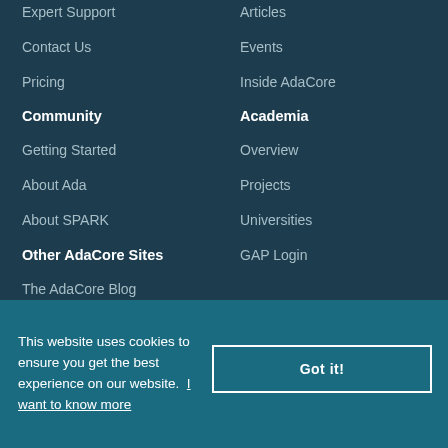Expert Support
Contact Us
Pricing
Community
Getting Started
About Ada
About SPARK
Articles
Events
Inside AdaCore
Academia
Overview
Projects
Universities
GAP Login
Other AdaCore Sites
The AdaCore Blog
Learn.adacore.com
This website uses cookies to ensure you get the best experience on our website. I want to know more
Got it!